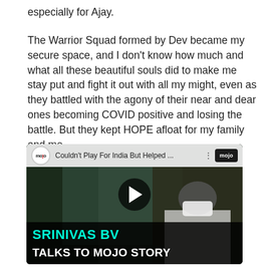especially for Ajay.
The Warrior Squad formed by Dev became my secure space, and I don't know how much and what all these beautiful souls did to make me stay put and fight it out with all my might, even as they battled with the agony of their near and dear ones becoming COVID positive and losing the battle. But they kept HOPE afloat for my family and me.
[Figure (screenshot): YouTube-style video thumbnail for a Mojo Story video titled 'Couldn't Play For India But Helped ...' featuring Srinivas BV. Shows a man wearing a white t-shirt and face mask. Bottom text reads 'SRINIVAS BV TALKS TO MOJO STORY' in teal and white on dark background.]